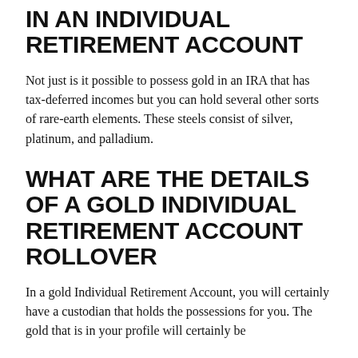IN AN INDIVIDUAL RETIREMENT ACCOUNT
Not just is it possible to possess gold in an IRA that has tax-deferred incomes but you can hold several other sorts of rare-earth elements. These steels consist of silver, platinum, and palladium.
WHAT ARE THE DETAILS OF A GOLD INDIVIDUAL RETIREMENT ACCOUNT ROLLOVER
In a gold Individual Retirement Account, you will certainly have a custodian that holds the possessions for you. The gold that is in your profile will certainly be